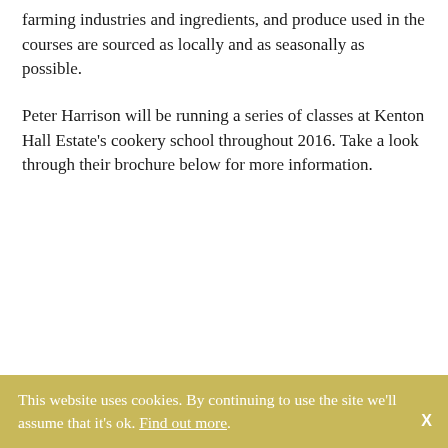farming industries and ingredients, and produce used in the courses are sourced as locally and as seasonally as possible.
Peter Harrison will be running a series of classes at Kenton Hall Estate's cookery school throughout 2016. Take a look through their brochure below for more information.
This website uses cookies. By continuing to use the site we'll assume that it's ok. Find out more.